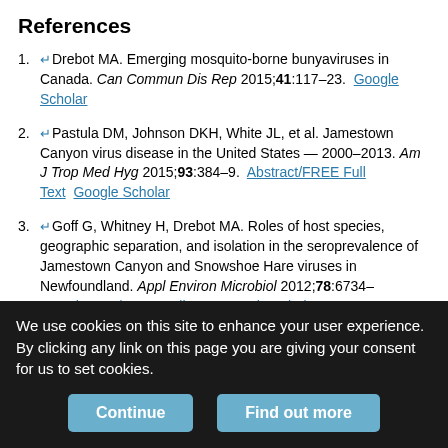References
Drebot MA. Emerging mosquito-borne bunyaviruses in Canada. Can Commun Dis Rep 2015;41:117–23. Google Scholar
Pastula DM, Johnson DKH, White JL, et al. Jamestown Canyon virus disease in the United States — 2000–2013. Am J Trop Med Hyg 2015;93:384–9. Abstract/FREE Full Text Google Scholar
Goff G, Whitney H, Drebot MA. Roles of host species, geographic separation, and isolation in the seroprevalence of Jamestown Canyon and Snowshoe Hare viruses in Newfoundland. Appl Environ Microbiol 2012;78:6734–40. Abstract/FREE Full Text Google Scholar
Webster D, Dimitrova K, Holloway K, et al. California serogroup virus infection associated with encephalitis and cognitive decline, Canada, 2015. Emerg Infect Dis 2017;23:1423–4. Google Scholar
We use cookies on this site to enhance your user experience. By clicking any link on this page you are giving your consent for us to set cookies.